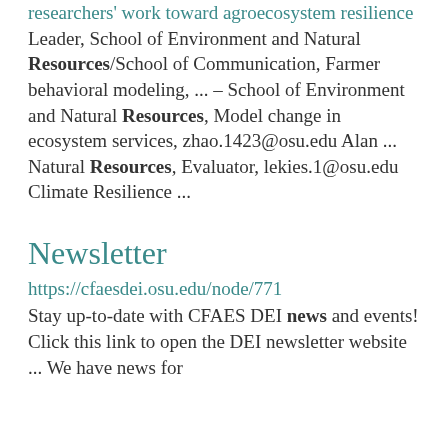researchers' work toward agroecosystem resilience Leader, School of Environment and Natural Resources/School of Communication, Farmer behavioral modeling, ... – School of Environment and Natural Resources, Model change in ecosystem services, zhao.1423@osu.edu Alan ... Natural Resources, Evaluator, lekies.1@osu.edu Climate Resilience ...
Newsletter
https://cfaesdei.osu.edu/node/771
Stay up-to-date with CFAES DEI news and events! Click this link to open the DEI newsletter website ... We have news for